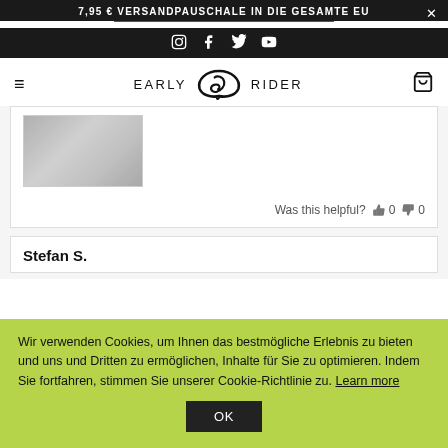7,95 € VERSANDPAUSCHALE IN DIE GESAMTE EU
[Figure (logo): Early Rider logo with social media icons (Instagram, Facebook, Twitter, YouTube) on black banner]
[Figure (photo): Small thumbnail of a grey textured product image]
Was this helpful? 0 0
Stefan S.
Wir verwenden Cookies, um Ihnen das bestmögliche Erlebnis zu bieten und uns und Dritten zu ermöglichen, Inhalte für Sie zu optimieren. Indem Sie fortfahren, stimmen Sie unserer Cookie-Richtlinie zu. Learn more